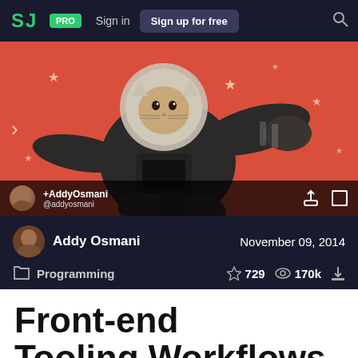SJ PRO | Sign in | Sign up for free
[Figure (illustration): A cartoon astronaut cat in a space suit floating against a red background with stars]
+AddyOsmani @addyosmani
Addy Osmani  November 09, 2014
Programming  729  170k
Front-end Tooling Workflows